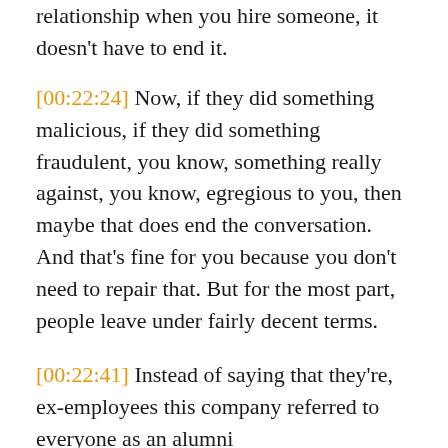relationship when you hire someone, it doesn't have to end it.
[00:22:24] Now, if they did something malicious, if they did something fraudulent, you know, something really against, you know, egregious to you, then maybe that does end the conversation. And that's fine for you because you don't need to repair that. But for the most part, people leave under fairly decent terms.
[00:22:41] Instead of saying that they're, ex-employees this company referred to everyone as an alumni
[00:22:49] and Yeah, I'm glad you, you said aha on that. So to ex-employees, as alumni, what do you